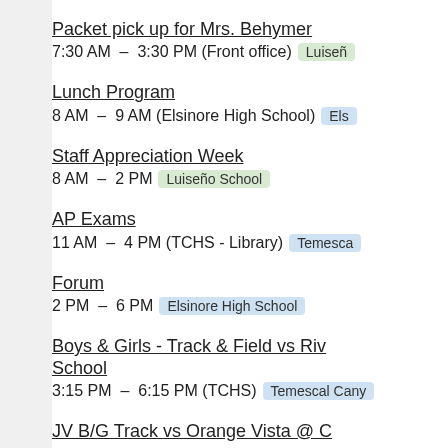Packet pick up for Mrs. Behymer
7:30 AM – 3:30 PM (Front office) Luiseño
Lunch Program
8 AM – 9 AM (Elsinore High School) Elsinore High School
Staff Appreciation Week
8 AM – 2 PM Luiseño School
AP Exams
11 AM – 4 PM (TCHS - Library) Temesca
Forum
2 PM – 6 PM Elsinore High School
Boys & Girls - Track & Field vs Riv School
3:15 PM – 6:15 PM (TCHS) Temescal Cany
JV B/G Track vs Orange Vista @ C